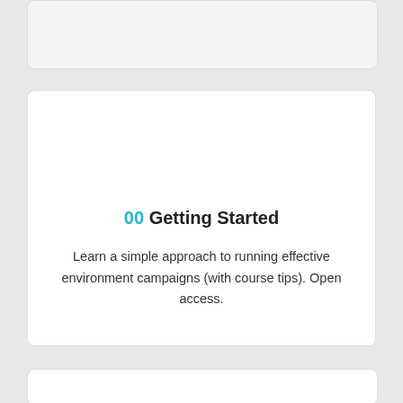00 Getting Started
Learn a simple approach to running effective environment campaigns (with course tips). Open access.